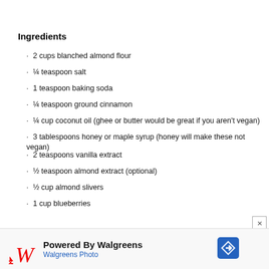Ingredients
2 cups blanched almond flour
¼ teaspoon salt
1 teaspoon baking soda
¼ teaspoon ground cinnamon
¼ cup coconut oil (ghee or butter would be great if you aren't vegan)
3 tablespoons honey or maple syrup (honey will make these not vegan)
2 teaspoons vanilla extract
½ teaspoon almond extract (optional)
½ cup almond slivers
1 cup blueberries
[Figure (infographic): Powered By Walgreens / Walgreens Photo advertisement banner with Walgreens W logo and navigation arrow icon]